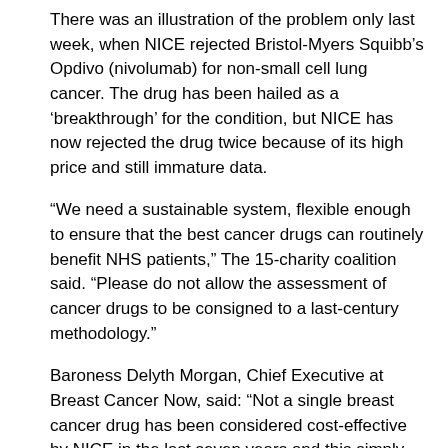There was an illustration of the problem only last week, when NICE rejected Bristol-Myers Squibb's Opdivo (nivolumab) for non-small cell lung cancer. The drug has been hailed as a 'breakthrough' for the condition, but NICE has now rejected the drug twice because of its high price and still immature data.
“We need a sustainable system, flexible enough to ensure that the best cancer drugs can routinely benefit NHS patients,” The 15-charity coalition said. “Please do not allow the assessment of cancer drugs to be consigned to a last-century methodology.”
Baroness Delyth Morgan, Chief Executive at Breast Cancer Now, said: “Not a single breast cancer drug has been considered cost-effective by NICE in the last seven years and this simply cannot continue. The voices of patients are, at best, not being heard, and, at worst, being ignored.